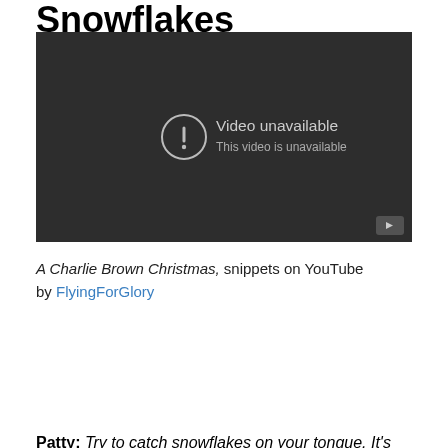Snowflakes
[Figure (screenshot): Embedded YouTube video player showing 'Video unavailable – This video is unavailable' message on a dark background, with a YouTube logo button in the bottom-right corner.]
A Charlie Brown Christmas, snippets on YouTube by FlyingForGlory
Patty: Try to catch snowflakes on your tongue. It's fun